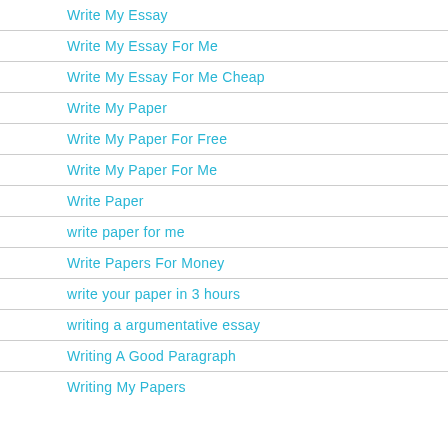Write My Essay
Write My Essay For Me
Write My Essay For Me Cheap
Write My Paper
Write My Paper For Free
Write My Paper For Me
Write Paper
write paper for me
Write Papers For Money
write your paper in 3 hours
writing a argumentative essay
Writing A Good Paragraph
Writing My Papers